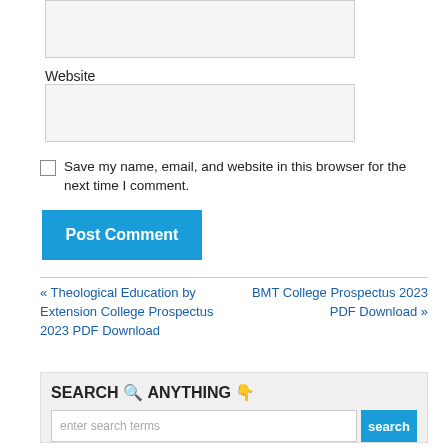(input box — top, unlabeled)
Website
(input box — website)
Save my name, email, and website in this browser for the next time I comment.
Post Comment
« Theological Education by Extension College Prospectus 2023 PDF Download
BMT College Prospectus 2023 PDF Download »
SEARCH 🔍 ANYTHING 👇
enter search terms
search